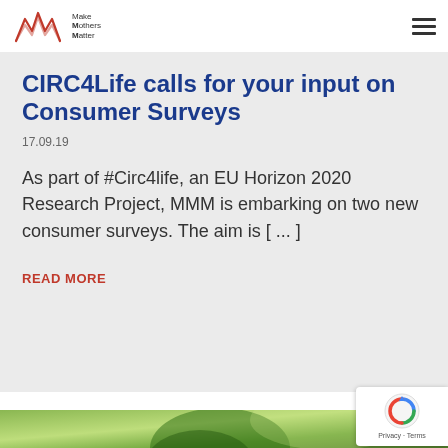Make Mothers Matter
CIRC4Life calls for your input on Consumer Surveys
17.09.19
As part of #Circ4life, an EU Horizon 2020 Research Project, MMM is embarking on two new consumer surveys. The aim is [ ... ]
READ MORE
[Figure (photo): Green recycling arrows around a globe on a green blurred background, partially visible at bottom of page]